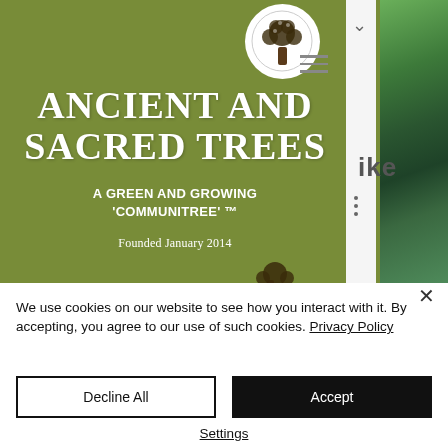[Figure (screenshot): Screenshot of Ancient and Sacred Trees website header with olive-green background, circular tree logo, hamburger menu, site title 'ANCIENT AND SACRED TREES', subtitle 'A GREEN AND GROWING COMMUNITREE TM', and 'Founded January 2014'. Right side shows partial photo of trees and partial text 'ike'.]
We use cookies on our website to see how you interact with it. By accepting, you agree to our use of such cookies. Privacy Policy
Decline All
Accept
Settings